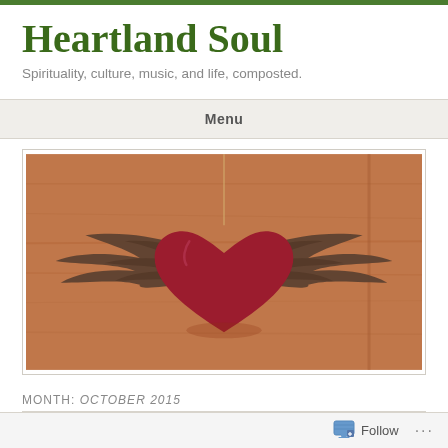Heartland Soul
Spirituality, culture, music, and life, composted.
Menu
[Figure (photo): A red heart-shaped ornament with dark metal angel wings, hanging by a string against a wooden cabinet background.]
MONTH: OCTOBER 2015
Follow  ...